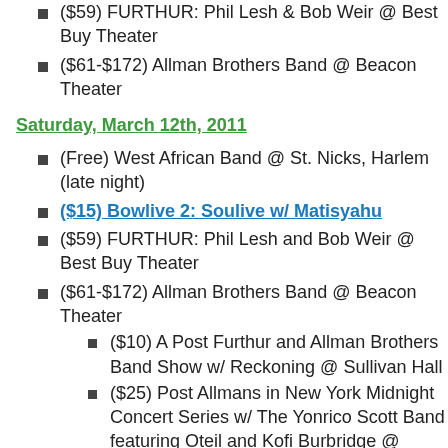($59) FURTHUR: Phil Lesh & Bob Weir @ Best Buy Theater
($61-$172) Allman Brothers Band @ Beacon Theater
Saturday, March 12th, 2011
(Free) West African Band @ St. Nicks, Harlem (late night)
($15) Bowlive 2: Soulive w/ Matisyahu
($59) FURTHUR: Phil Lesh and Bob Weir @ Best Buy Theater
($61-$172) Allman Brothers Band @ Beacon Theater
($10) A Post Furthur and Allman Brothers Band Show w/ Reckoning @ Sullivan Hall
($25) Post Allmans in New York Midnight Concert Series w/ The Yonrico Scott Band featuring Oteil and Kofi Burbridge @ Iridium Jazz Club